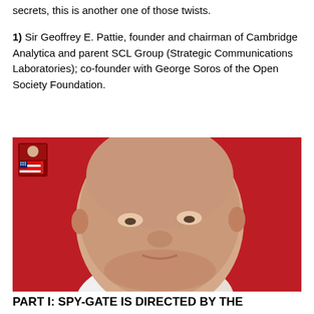secrets, this is another one of those twists.
1) Sir Geoffrey E. Pattie, founder and chairman of Cambridge Analytica and parent SCL Group (Strategic Communications Laboratories); co-founder with George Soros of the Open Society Foundation.
[Figure (photo): Close-up portrait photo of an elderly bald man with pale skin, slight smile, wearing a white striped shirt, against a vivid red background. In the upper-left corner is a small heraldic badge overlapping a small American flag.]
PART I: SPY-GATE IS DIRECTED BY THE